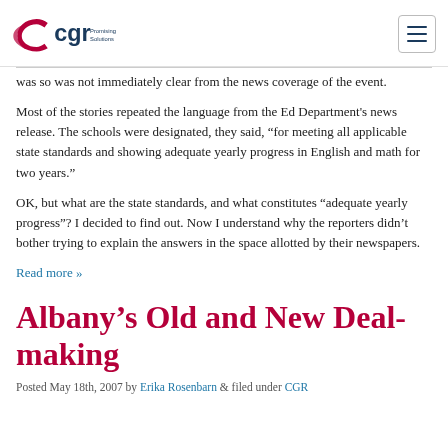CGR Promising Solutions
was so was not immediately clear from the news coverage of the event.
Most of the stories repeated the language from the Ed Department's news release. The schools were designated, they said, “for meeting all applicable state standards and showing adequate yearly progress in English and math for two years.”
OK, but what are the state standards, and what constitutes “adequate yearly progress”? I decided to find out. Now I understand why the reporters didn’t bother trying to explain the answers in the space allotted by their newspapers.
Read more »
Albany’s Old and New Deal-making
Posted May 18th, 2007 by Erika Rosenbarn & filed under CGR